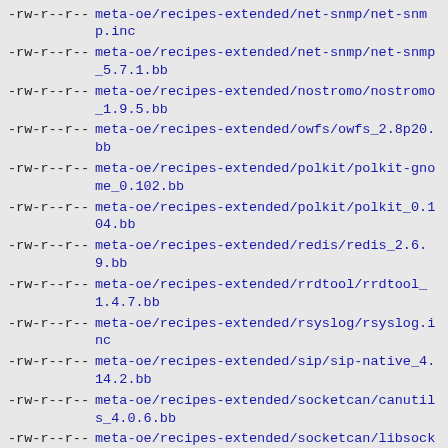-rw-r--r-- meta-oe/recipes-extended/net-snmp/net-snmp.inc
-rw-r--r-- meta-oe/recipes-extended/net-snmp/net-snmp_5.7.1.bb
-rw-r--r-- meta-oe/recipes-extended/nostromo/nostromo_1.9.5.bb
-rw-r--r-- meta-oe/recipes-extended/owfs/owfs_2.8p20.bb
-rw-r--r-- meta-oe/recipes-extended/polkit/polkit-gnome_0.102.bb
-rw-r--r-- meta-oe/recipes-extended/polkit/polkit_0.104.bb
-rw-r--r-- meta-oe/recipes-extended/redis/redis_2.6.9.bb
-rw-r--r-- meta-oe/recipes-extended/rrdtool/rrdtool_1.4.7.bb
-rw-r--r-- meta-oe/recipes-extended/rsyslog/rsyslog.inc
-rw-r--r-- meta-oe/recipes-extended/sip/sip-native_4.14.2.bb
-rw-r--r-- meta-oe/recipes-extended/socketcan/canutils_4.0.6.bb
-rw-r--r-- meta-oe/recipes-extended/socketcan/libsocketcan_0.0.8.bb
-rw-r--r-- meta-oe/recipes-extended/subsurface/subsurface_git.bb
-rw-r--r-- meta-oe/recipes-extended/t1lib/t1lib_5.1.2.bb
-rw-r--r-- meta-oe/recipes-extended/tcsh/tcsh_6.18.01.bb
-rw-r--r-- meta-oe/recipes-extended/tmux/tmux_1.6.bb
-rw-r--r-- meta-oe/recipes-extended/uml-utilities/uml-utilities_20040406.bb
-rw-r--r-- meta-oe/recipes-extended/zram/zram_0.1.bb
-rw-r--r-- meta-oe/recipes-extended/zsh/zsh.inc
-rw-r--r-- meta-oe/recipes-gnome/gtk+/gtkmm.inc
-rw-r--r-- meta-oe/recipes-gnome/gtkhtml2/gtkhtml2_svn.bb
-rw-r--r-- meta-oe/recipes-graphics/clutter/clutter-box2d.inc